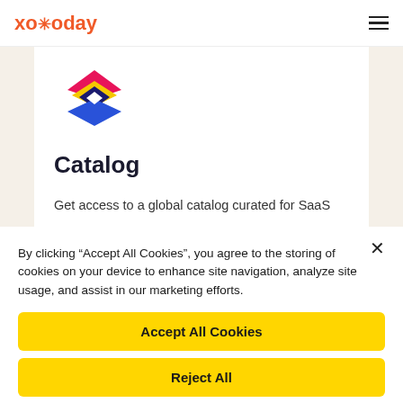xoxoday
[Figure (logo): Xoxoday Catalog product logo — layered diamond/rhombus shapes in pink/magenta (top), yellow (middle), dark navy (inner), and blue (bottom)]
Catalog
Get access to a global catalog curated for SaaS
By clicking “Accept All Cookies”, you agree to the storing of cookies on your device to enhance site navigation, analyze site usage, and assist in our marketing efforts.
Accept All Cookies
Reject All
Cookies Settings